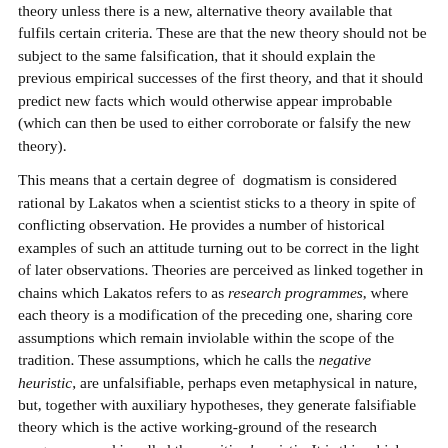theory unless there is a new, alternative theory available that fulfils certain criteria. These are that the new theory should not be subject to the same falsification, that it should explain the previous empirical successes of the first theory, and that it should predict new facts which would otherwise appear improbable (which can then be used to either corroborate or falsify the new theory).
This means that a certain degree of dogmatism is considered rational by Lakatos when a scientist sticks to a theory in spite of conflicting observation. He provides a number of historical examples of such an attitude turning out to be correct in the light of later observations. Theories are perceived as linked together in chains which Lakatos refers to as research programmes, where each theory is a modification of the preceding one, sharing core assumptions which remain inviolable within the scope of the tradition. These assumptions, which he calls the negative heuristic, are unfalsifiable, perhaps even metaphysical in nature, but, together with auxiliary hypotheses, they generate falsifiable theory which is the active working-ground of the research programme and is called the positive heuristic. It is this which changes as a research programme develops and one theory gives way to another.
From Lakatos's account[4] it becomes obvious that the crucial factor in the success of science in making progress towards objectivity is not any formula which could be applied rigidly to